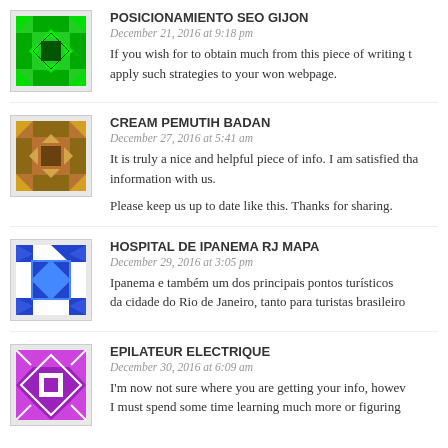POSICIONAMIENTO SEO GIJON
December 21, 2016 at 9:18 pm
If you wish for to obtain much from this piece of writing then you have to apply such strategies to your won webpage.
CREAM PEMUTIH BADAN
December 27, 2016 at 5:41 am
It is truly a nice and helpful piece of info. I am satisfied that you shared this helpful information with us.
Please keep us up to date like this. Thanks for sharing.
HOSPITAL DE IPANEMA RJ MAPA
December 29, 2016 at 3:05 pm
Ipanema e também um dos principais pontos turísticos da cidade do Rio de Janeiro, tanto para turistas brasileiro
EPILATEUR ELECTRIQUE
December 30, 2016 at 6:09 am
I'm now not sure where you are getting your info, however I must spend some time learning much more or figuring